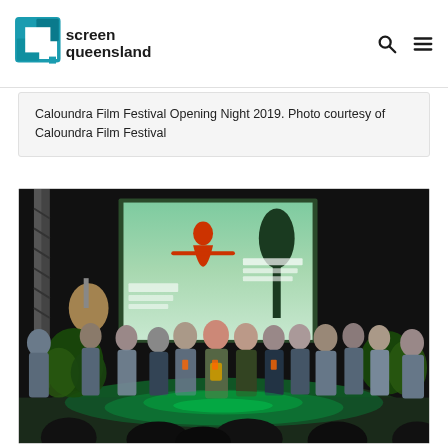Screen Queensland
Caloundra Film Festival Opening Night 2019. Photo courtesy of Caloundra Film Festival
[Figure (photo): Group of people standing on a stage at the Caloundra Film Festival Opening Night 2019, with a green-lit projection screen showing a film poster behind them. The image shows approximately 15 people lined up on stage, some holding awards, with audience members visible in the foreground.]